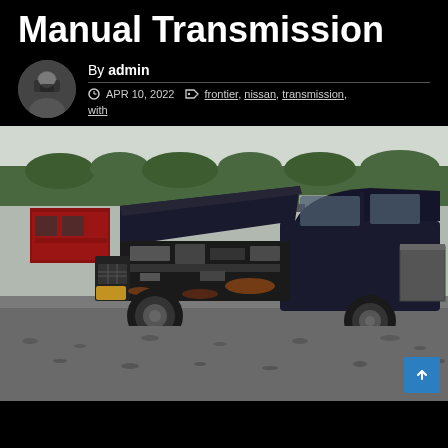Manual Transmission
By admin
APR 10, 2022   frontier, nissan, transmission, with
[Figure (photo): A black Nissan Frontier pickup truck with hood open showing engine in a junkyard/lot setting. A red vehicle is visible in the background on the left, and white trailers are visible in the background on the right.]